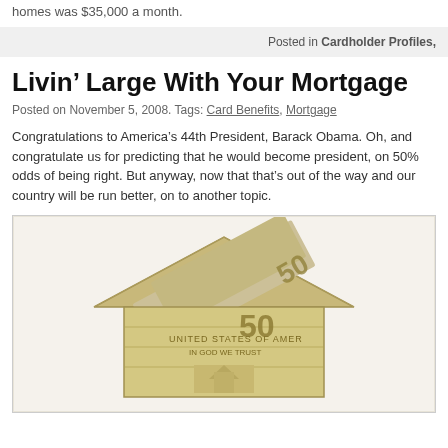homes was $35,000 a month.
Posted in Cardholder Profiles,
Livin’ Large With Your Mortgage
Posted on November 5, 2008. Tags: Card Benefits, Mortgage
Congratulations to America’s 44th President, Barack Obama. Oh, and congratulate us for predicting that he would become president, on 50% odds of being right. But anyway, now that that’s out of the way and our country will be run better, on to another topic.
[Figure (photo): A house shape folded from US dollar bills (50 dollar bills), representing a mortgage or money in real estate, on a white background.]